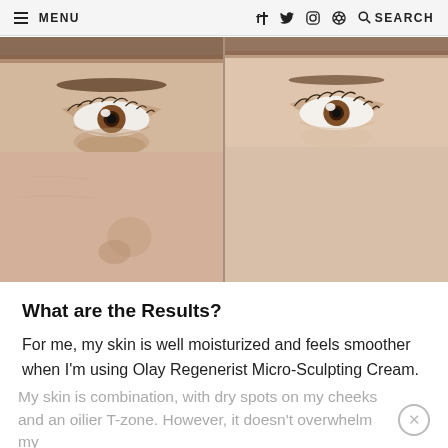☰ MENU   f  t  ○  ⊕  🔍 SEARCH
[Figure (photo): Before and after side-by-side close-up photos of a woman's eyes and cheeks, showing skin texture comparison. Left image shows skin before treatment with slightly more visible under-eye darkness and texture; right image shows smoother, more even skin after using Olay Regenerist Micro-Sculpting Cream.]
What are the Results?
For me, my skin is well moisturized and feels smoother when I'm using Olay Regenerist Micro-Sculpting Cream.
My skin is combination, with dry spots on my cheeks and an oilier T-zone. However, it doesn't overwhelm my